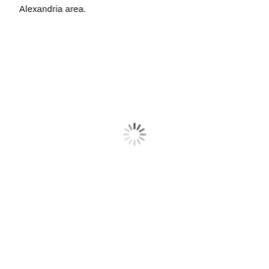Alexandria area.
[Figure (other): A loading spinner (radial/starburst loading indicator) centered on an otherwise blank white page area.]